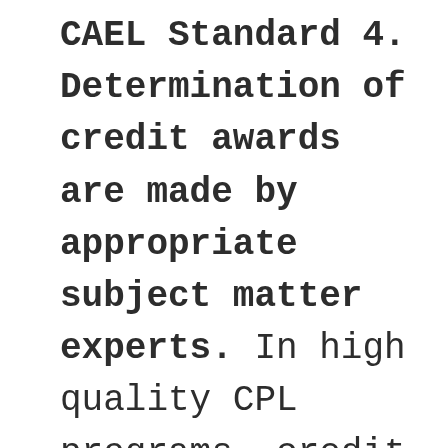CAEL Standard 4. Determination of credit awards are made by appropriate subject matter experts. In high quality CPL programs, credit awards are determined by experts in the field who have